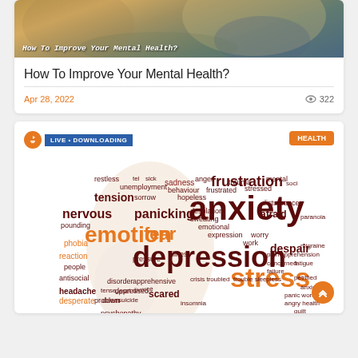[Figure (photo): Hero banner photo of a person, possibly outdoors, with overlay text 'How To Improve Your Mental Health?']
How To Improve Your Mental Health?
Apr 28, 2022    322 views
[Figure (illustration): Word cloud / tag cloud related to mental health topics including anxiety, depression, stress, emotion, frustration, fear, tension, nervous, panicking, and many other related terms. Features a hand holding a marker drawing the words. Includes 'LIVE • DOWNLOADING' badge and 'HEALTH' badge.]